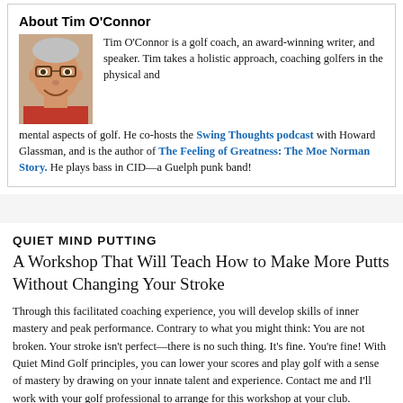About Tim O'Connor
[Figure (photo): Headshot photo of Tim O'Connor, a man with glasses wearing a red shirt, smiling]
Tim O'Connor is a golf coach, an award-winning writer, and speaker. Tim takes a holistic approach, coaching golfers in the physical and mental aspects of golf. He co-hosts the Swing Thoughts podcast with Howard Glassman, and is the author of The Feeling of Greatness: The Moe Norman Story. He plays bass in CID—a Guelph punk band!
QUIET MIND PUTTING
A Workshop That Will Teach How to Make More Putts Without Changing Your Stroke
Through this facilitated coaching experience, you will develop skills of inner mastery and peak performance. Contrary to what you might think: You are not broken. Your stroke isn't perfect—there is no such thing. It's fine. You're fine! With Quiet Mind Golf principles, you can lower your scores and play golf with a sense of mastery by drawing on your innate talent and experience. Contact me and I'll work with your golf professional to arrange for this workshop at your club.